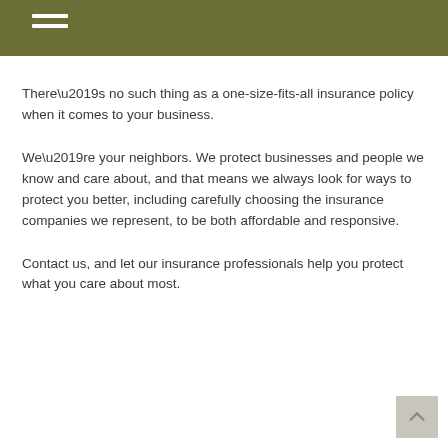There’s no such thing as a one-size-fits-all insurance policy when it comes to your business.
We’re your neighbors. We protect businesses and people we know and care about, and that means we always look for ways to protect you better, including carefully choosing the insurance companies we represent, to be both affordable and responsive.
Contact us, and let our insurance professionals help you protect what you care about most.